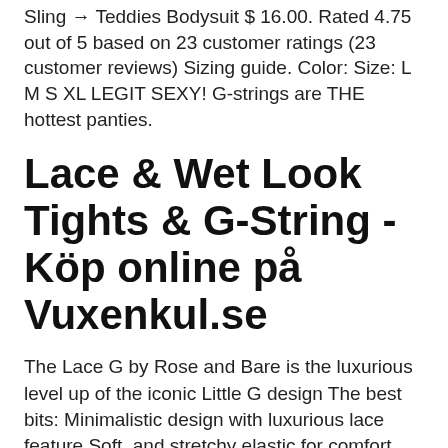Sling → Teddies Bodysuit $ 16.00. Rated 4.75 out of 5 based on 23 customer ratings (23 customer reviews) Sizing guide. Color: Size: L M S XL LEGIT SEXY! G-strings are THE hottest panties.
Lace & Wet Look Tights & G-String - Köp online på Vuxenkul.se
The Lace G by Rose and Bare is the luxurious level up of the iconic Little G design The best bits: Minimalistic design with luxurious lace feature Soft, and stretchy elastic for comfort Breathable… The Kisskill-lingerie Cassie G-String is the perfect way to complete the outfit to wear with the Cassie